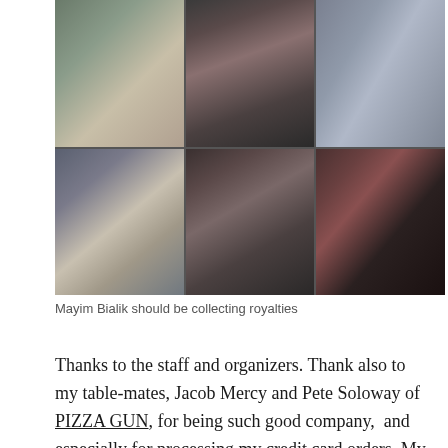[Figure (photo): A 2x3 photo collage showing six different women at what appears to be a comic convention or similar event. The photos show various women with different hairstyles, some wearing glasses.]
Mayim Bialik should be collecting royalties
Thanks to the staff and organizers. Thank also to my table-mates, Jacob Mercy and Pete Soloway of PIZZA GUN, for being such good company,  and especially for processing my credit card orders. My next convention appearance: Wizard World Comic Con in